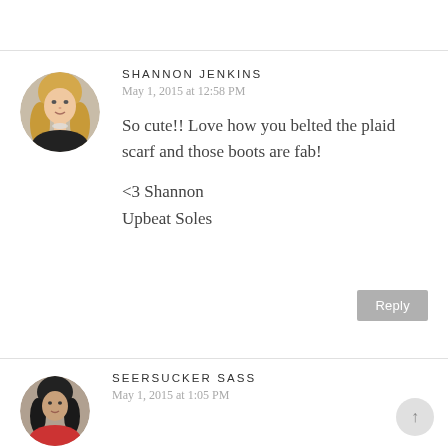[Figure (photo): Circular avatar photo of Shannon Jenkins, a woman with long blonde hair]
SHANNON JENKINS
May 1, 2015 at 12:58 PM
So cute!! Love how you belted the plaid scarf and those boots are fab!
<3 Shannon
Upbeat Soles
[Figure (photo): Circular avatar photo of Seersucker Sass, a person in a red outfit]
SEERSUCKER SASS
May 1, 2015 at 1:05 PM